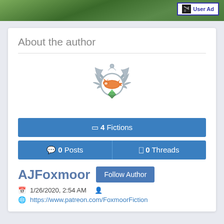[Figure (screenshot): Top banner with forest/nature background image and User Ad button in top-right corner]
About the author
[Figure (illustration): Decorative badge/emblem with an orange fox silhouette in the center, surrounded by silver ornamental wings/leaves and a green gem at the bottom]
📄 4 Fictions
💬 0 Posts   ⊞ 0 Threads
AJFoxmoor
Follow Author
📅 1/26/2020, 2:54 AM  👤
🌐 https://www.patreon.com/FoxmoorFiction